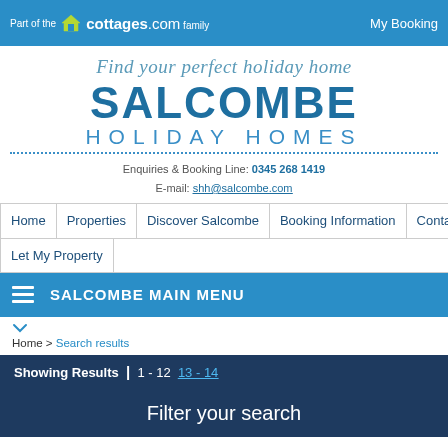Part of the cottages.com family | My Booking
Find your perfect holiday home
SALCOMBE HOLIDAY HOMES
Enquiries & Booking Line: 0345 268 1419 E-mail: shh@salcombe.com
Home
Properties
Discover Salcombe
Booking Information
Contact
Let My Property
SALCOMBE MAIN MENU
Home > Search results
Showing Results | 1 - 12  13 - 14
Filter your search